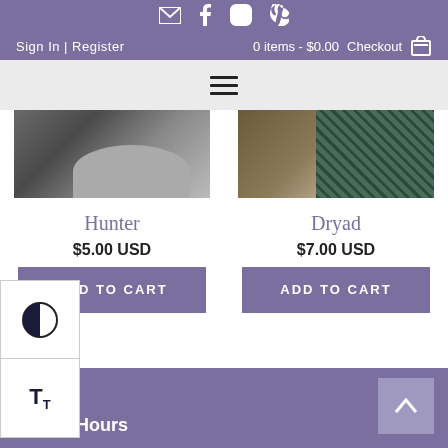Social icons: email, facebook, instagram, pinterest | Sign In | Register | 0 items - $0.00 | Checkout
[Figure (screenshot): Navigation menu bar with hamburger icon on light gray background]
[Figure (photo): Product photo for Hunter - person wearing gray jacket]
[Figure (photo): Product photo for Dryad - knitted item on display]
Hunter
$5.00 USD
ADD TO CART
Dryad
$7.00 USD
ADD TO CART
Office Hours